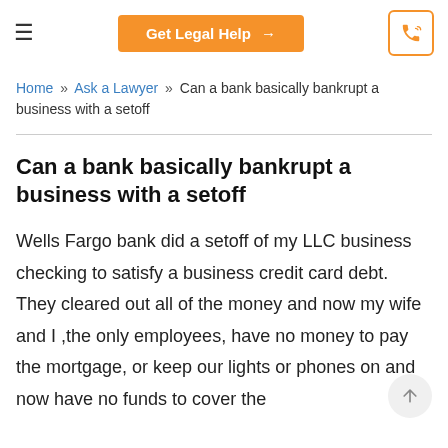Get Legal Help →
Home » Ask a Lawyer » Can a bank basically bankrupt a business with a setoff
Can a bank basically bankrupt a business with a setoff
Wells Fargo bank did a setoff of my LLC business checking to satisfy a business credit card debt. They cleared out all of the money and now my wife and I ,the only employees, have no money to pay the mortgage, or keep our lights or phones on and now have no funds to cover the